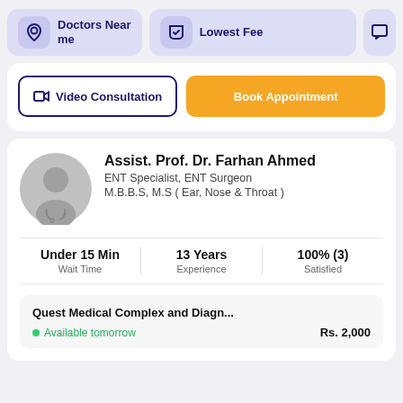[Figure (screenshot): Navigation bar with 'Doctors Near me', 'Lowest Fee', and a partially visible third button]
Video Consultation
Book Appointment
Assist. Prof. Dr. Farhan Ahmed
ENT Specialist, ENT Surgeon
M.B.B.S, M.S ( Ear, Nose & Throat )
Under 15 Min
Wait Time
13 Years
Experience
100% (3)
Satisfied
Quest Medical Complex and Diagn...
Available tomorrow   Rs. 2,000